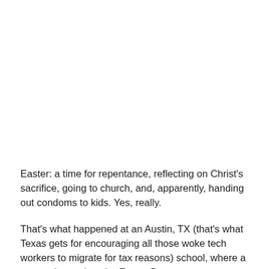Easter: a time for repentance, reflecting on Christ's sacrifice, going to church, and, apparently, handing out condoms to kids. Yes, really.
That's what happened at an Austin, TX (that's what Texas gets for encouraging all those woke tech workers to migrate for tax reasons) school, where a parent dressed as the Easter Bunny